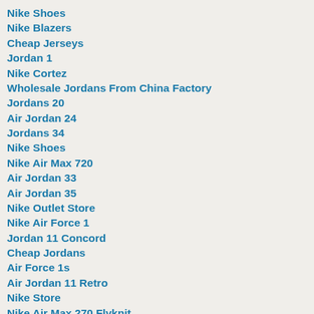Nike Shoes
Nike Blazers
Cheap Jerseys
Jordan 1
Nike Cortez
Wholesale Jordans From China Factory
Jordans 20
Air Jordan 24
Jordans 34
Nike Shoes
Nike Air Max 720
Air Jordan 33
Air Jordan 35
Nike Outlet Store
Nike Air Force 1
Jordan 11 Concord
Cheap Jordans
Air Force 1s
Air Jordan 11 Retro
Nike Store
Nike Air Max 270 Flyknit
Jordan 16
Uptempo
Nike Air Force 1 High
Jordan 11 Low